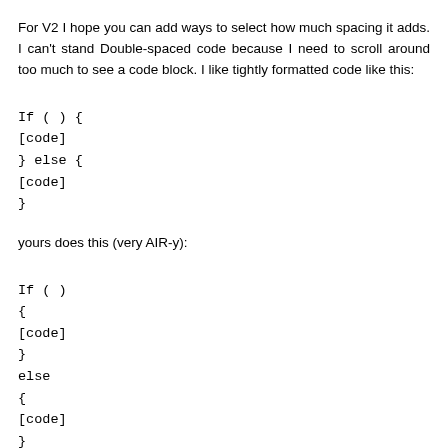For V2 I hope you can add ways to select how much spacing it adds. I can't stand Double-spaced code because I need to scroll around too much to see a code block. I like tightly formatted code like this:
If ( ) {
[code]
} else {
[code]
}
yours does this (very AIR-y):
If ( )
{
[code]
}
else
{
[code]
}